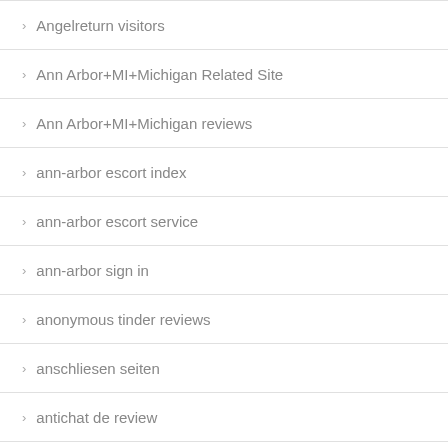Angelreturn visitors
Ann Arbor+MI+Michigan Related Site
Ann Arbor+MI+Michigan reviews
ann-arbor escort index
ann-arbor escort service
ann-arbor sign in
anonymous tinder reviews
anschliesen seiten
antichat de review
antichat entrar
AntiChat visitors
antioch escort